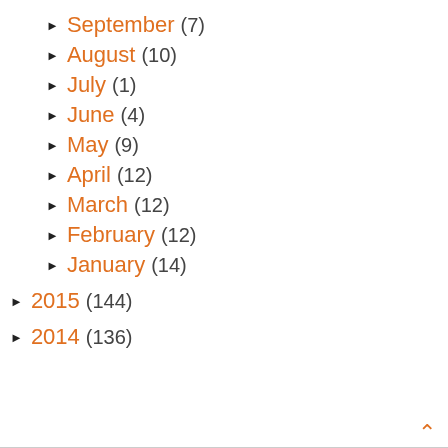► September (7)
► August (10)
► July (1)
► June (4)
► May (9)
► April (12)
► March (12)
► February (12)
► January (14)
► 2015 (144)
► 2014 (136)